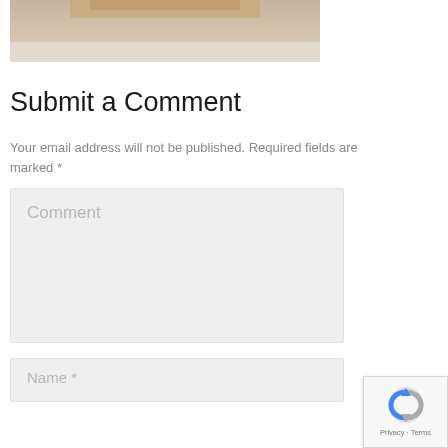[Figure (photo): Partial photo of a person (top of head/hair visible), cropped at top of page]
Submit a Comment
Your email address will not be published. Required fields are marked *
[Figure (other): Comment text input box with placeholder text 'Comment']
[Figure (other): Name text input box with placeholder text 'Name *']
[Figure (other): reCAPTCHA badge with Privacy and Terms links]